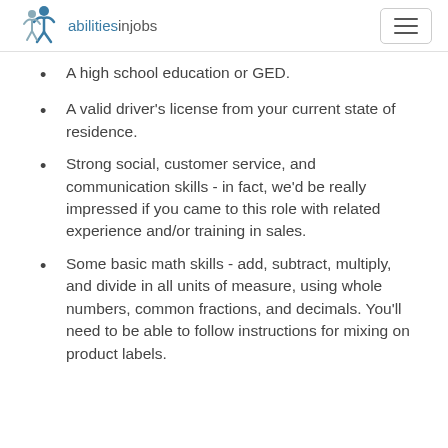abilitiesinjobs
A high school education or GED.
A valid driver's license from your current state of residence.
Strong social, customer service, and communication skills - in fact, we'd be really impressed if you came to this role with related experience and/or training in sales.
Some basic math skills - add, subtract, multiply, and divide in all units of measure, using whole numbers, common fractions, and decimals. You'll need to be able to follow instructions for mixing on product labels.